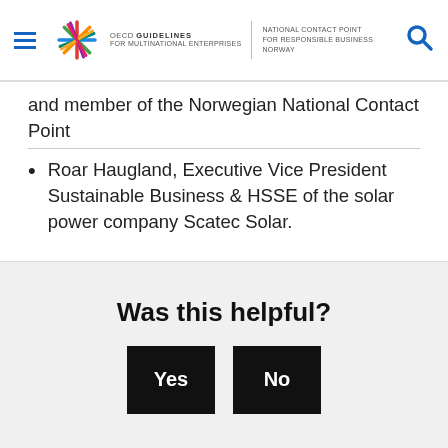OECD GUIDELINES FOR MULTINATIONAL ENTERPRISES | NATIONAL CONTACT POINT FOR RESPONSIBLE BUSINESS NORWAY
and member of the Norwegian National Contact Point
Roar Haugland, Executive Vice President Sustainable Business & HSSE of the solar power company Scatec Solar.
Was this helpful?
Yes | No